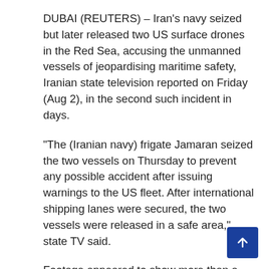DUBAI (REUTERS) – Iran's navy seized but later released two US surface drones in the Red Sea, accusing the unmanned vessels of jeopardising maritime safety, Iranian state television reported on Friday (Aug 2), in the second such incident in days.
“The (Iranian navy) frigate Jamaran seized the two vessels on Thursday to prevent any possible accident after issuing warnings to the US fleet. After international shipping lanes were secured, the two vessels were released in a safe area,” state TV said.
Footage appeared to show more than a dozen Iranian navy personnel pushing two drones into the sea from the deck of their vessel.